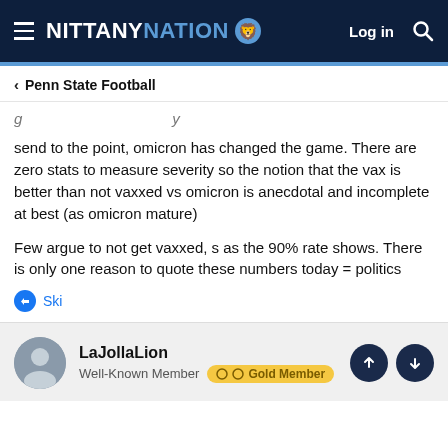NITTANY NATION — Log in
< Penn State Football
…g                                         y
send to the point, omicron has changed the game. There are zero stats to measure severity so the notion that the vax is better than not vaxxed vs omicron is anecdotal and incomplete at best (as omicron mature)
Few argue to not get vaxxed, s as the 90% rate shows. There is only one reason to quote these numbers today = politics
Ski
LaJollaLion
Well-Known Member  Gold Member